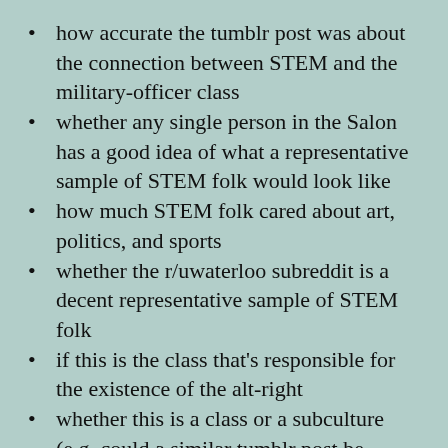how accurate the tumblr post was about the connection between STEM and the military-officer class
whether any single person in the Salon has a good idea of what a representative sample of STEM folk would look like
how much STEM folk cared about art, politics, and sports
whether the r/uwaterloo subreddit is a decent representative sample of STEM folk
if this is the class that's responsible for the existence of the alt-right
whether this is a class or a subculture (e.g. could a similar tumblr post be made for “the lawyer class”?)
if “STEM folk” is a real and useful category